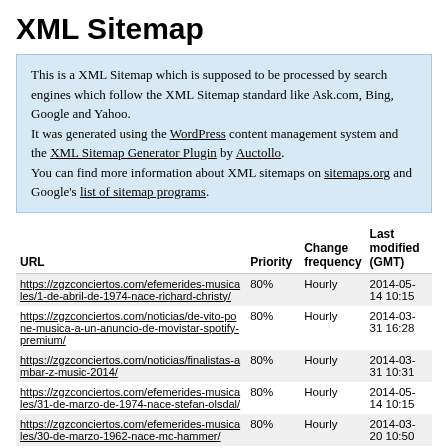XML Sitemap
This is a XML Sitemap which is supposed to be processed by search engines which follow the XML Sitemap standard like Ask.com, Bing, Google and Yahoo.
It was generated using the WordPress content management system and the XML Sitemap Generator Plugin by Auctollo.
You can find more information about XML sitemaps on sitemaps.org and Google's list of sitemap programs.
| URL | Priority | Change frequency | Last modified (GMT) |
| --- | --- | --- | --- |
| https://zgzconciertos.com/efemerides-musicales/1-de-abril-de-1974-nace-richard-christy/ | 80% | Hourly | 2014-05-14 10:15 |
| https://zgzconciertos.com/noticias/de-vito-pone-musica-a-un-anuncio-de-movistar-spotify-premium/ | 80% | Hourly | 2014-03-31 16:28 |
| https://zgzconciertos.com/noticias/finalistas-ambar-z-music-2014/ | 80% | Hourly | 2014-03-31 10:31 |
| https://zgzconciertos.com/efemerides-musicales/31-de-marzo-de-1974-nace-stefan-olsdal/ | 80% | Hourly | 2014-05-14 10:15 |
| https://zgzconciertos.com/efemerides-musicales/30-de-marzo-1962-nace-mc-hammer/ | 80% | Hourly | 2014-03-20 10:50 |
| https://zgzconciertos.com/efemerides-... | 80% | Hourly |  |